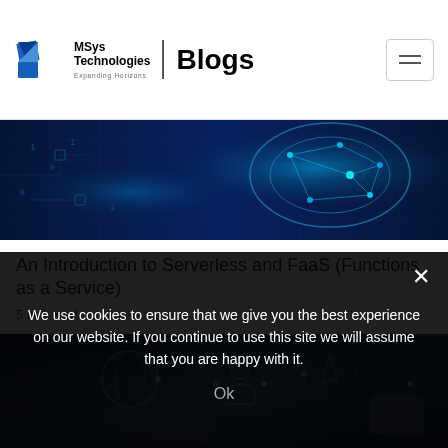MSys Technologies | Expanding Horizons | Blogs
[Figure (photo): Digital brain / network technology image with blue glowing lights on dark background]
An Introduction to Serverless and FaaS (Functions as a Service)
5 min read
[Figure (photo): IoT icons floating over dark blue background — globe, people, airplane, network icons]
We use cookies to ensure that we give you the best experience on our website. If you continue to use this site we will assume that you are happy with it.
Ok